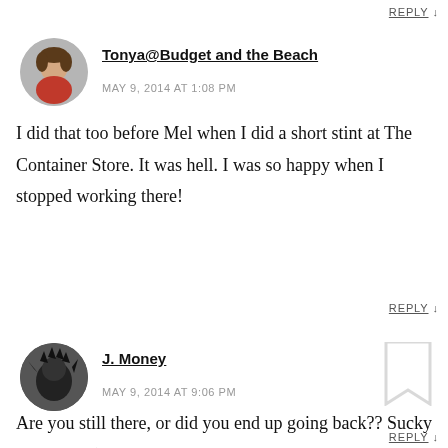REPLY ↓
Tonya@Budget and the Beach
MAY 9, 2014 AT 1:08 PM
I did that too before Mel when I did a short stint at The Container Store. It was hell. I was so happy when I stopped working there!
REPLY ↓
J. Money
MAY 9, 2014 AT 9:06 PM
Are you still there, or did you end up going back?? Sucky sounding :(
REPLY ↓